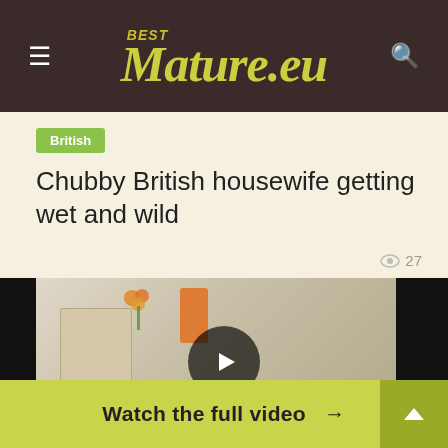BestMature.eu
British
Chubby British housewife getting wet and wild
27 views
[Figure (screenshot): Video thumbnail showing a woman on a bed in a bedroom, with a play button overlay in the center. Left and right black bars visible.]
This site uses cookies. By continuing to browse the site you
Watch the full video →